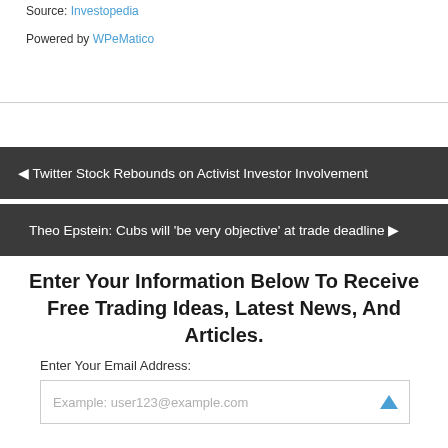Source: Investopedia
Powered by WPeMatico
◀ Twitter Stock Rebounds on Activist Investor Involvement
Theo Epstein: Cubs will 'be very objective' at trade deadline ▶
Enter Your Information Below To Receive Free Trading Ideas, Latest News, And Articles.
Enter Your Email Address:
Example: user123@example.com